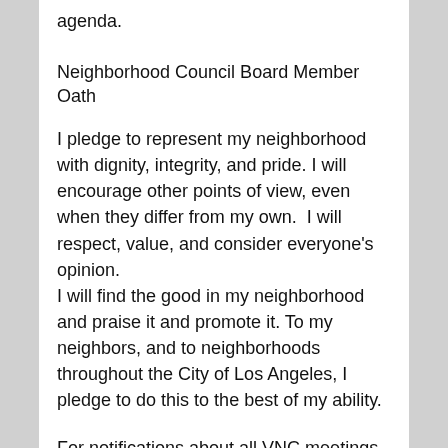agenda.
Neighborhood Council Board Member Oath
I pledge to represent my neighborhood with dignity, integrity, and pride. I will encourage other points of view, even when they differ from my own.  I will respect, value, and consider everyone's opinion.
I will find the good in my neighborhood and praise it and promote it. To my neighbors, and to neighborhoods throughout the City of Los Angeles, I pledge to do this to the best of my ability.
For notifications about all VNC meetings, follow this link to the  LA City's Early Notification System.  Alterantly, the VNC maintains a Calendar